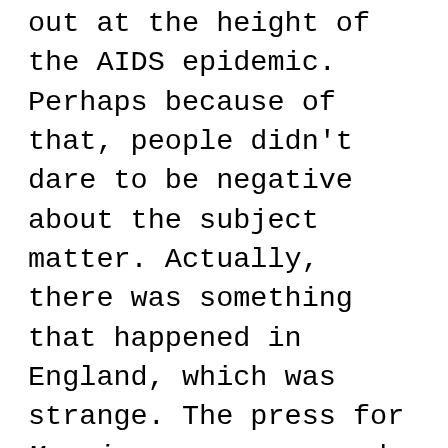out at the height of the AIDS epidemic. Perhaps because of that, people didn't dare to be negative about the subject matter. Actually, there was something that happened in England, which was strange. The press for Maurice was very good in America. It was less good in London. It was as if the critics had backed off from it and didn't want to compromise themselves. Now the London film critics at that time were almost to a man, gay. But they backed off and did not support it like they might have. Whereas, in America, everyone supported it. Well, not Pauline Kael, of course.